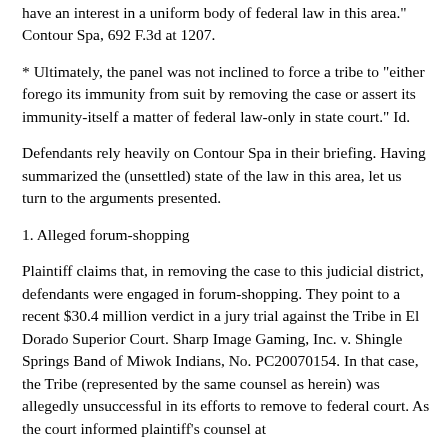have an interest in a uniform body of federal law in this area." Contour Spa, 692 F.3d at 1207.
* Ultimately, the panel was not inclined to force a tribe to "either forego its immunity from suit by removing the case or assert its immunity-itself a matter of federal law-only in state court." Id.
Defendants rely heavily on Contour Spa in their briefing. Having summarized the (unsettled) state of the law in this area, let us turn to the arguments presented.
1. Alleged forum-shopping
Plaintiff claims that, in removing the case to this judicial district, defendants were engaged in forum-shopping. They point to a recent $30.4 million verdict in a jury trial against the Tribe in El Dorado Superior Court. Sharp Image Gaming, Inc. v. Shingle Springs Band of Miwok Indians, No. PC20070154. In that case, the Tribe (represented by the same counsel as herein) was allegedly unsuccessful in its efforts to remove to federal court. As the court informed plaintiff's counsel at